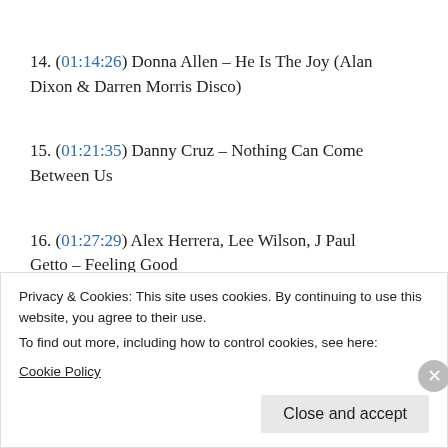14. (01:14:26) Donna Allen – He Is The Joy (Alan Dixon & Darren Morris Disco)
15. (01:21:35) Danny Cruz – Nothing Can Come Between Us
16. (01:27:29) Alex Herrera, Lee Wilson, J Paul Getto – Feeling Good
Privacy & Cookies: This site uses cookies. By continuing to use this website, you agree to their use. To find out more, including how to control cookies, see here: Cookie Policy